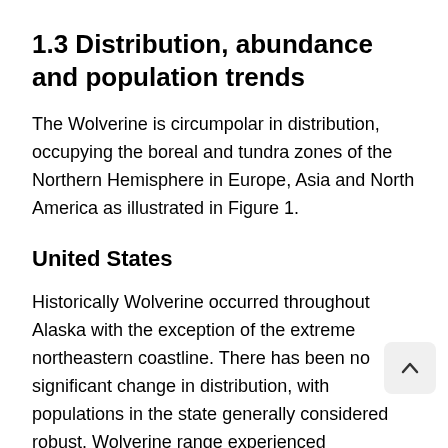1.3 Distribution, abundance and population trends
The Wolverine is circumpolar in distribution, occupying the boreal and tundra zones of the Northern Hemisphere in Europe, Asia and North America as illustrated in Figure 1.
United States
Historically Wolverine occurred throughout Alaska with the exception of the extreme northeastern coastline. There has been no significant change in distribution, with populations in the state generally considered robust. Wolverine range experienced substantive retraction by the mid-1900s in the low states (Aubry et al. (and others) 2007). The species formerly occurred along the western mountain ranges